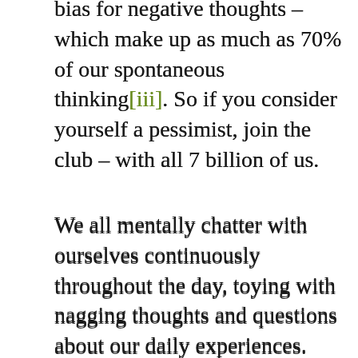bias for negative thoughts – which make up as much as 70% of our spontaneous thinking[iii]. So if you consider yourself a pessimist, join the club – with all 7 billion of us.
We all mentally chatter with ourselves continuously throughout the day, toying with nagging thoughts and questions about our daily experiences. And while we tend to portray ourselves more positively to our peers, inside our own heads the light shines a lot less bright – and we're much more self-depreciating.
Research by Dr Raj Raghunathan found that our negative thoughts tend to stem from three innate desires: equality, approval, and control[iv]. In other words, we fear being inferior to, rejected by, and overlooked by others, and its these fears which inform the majority of our negative thinking.